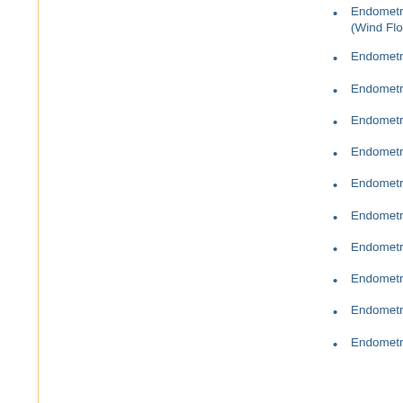Endometriosis and Anemone Pulsatilla (Wind Flower or Easter Flower)
Endometriosis and Ayurveda
Endometriosis and Berberis Vugaris
Endometriosis and Biochemical Cell
Endometriosis and Black Haw
Endometriosis and Black Pepper
Endometriosis and Blue Cohosh
Endometriosis and Bupleurum
Endometriosis and Cassia Senna
Endometriosis and Chaste tree Berry
Endometriosis and Chinese Herbs